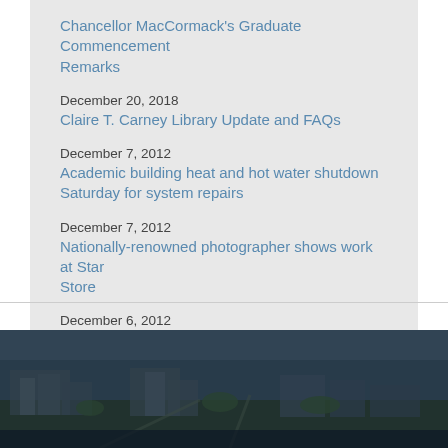Chancellor MacCormack's Graduate Commencement Remarks
December 20, 2018
Claire T. Carney Library Update and FAQs
December 7, 2012
Academic building heat and hot water shutdown Saturday for system repairs
December 7, 2012
Nationally-renowned photographer shows work at Star Store
December 6, 2012
UMass Dartmouth marks milestone at the MAB
[Figure (photo): Aerial photograph of UMass Dartmouth campus showing buildings, pathways, and green areas with a dark blue overlay tint]